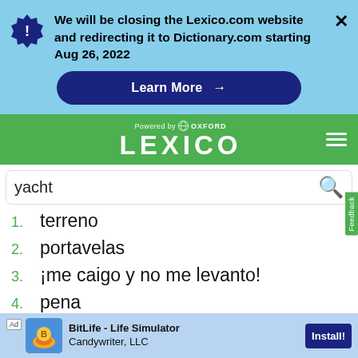We will be closing the Lexico.com website and redirecting it to Dictionary.com starting Aug 26, 2022
Learn More →
[Figure (screenshot): Lexico powered by Oxford logo with green background and hamburger menu]
yacht
1. terreno
2. portavelas
3. ¡me caigo y no me levanto!
4. pena
5. novia
Ad BitLife - Life Simulator Candywriter, LLC Install!